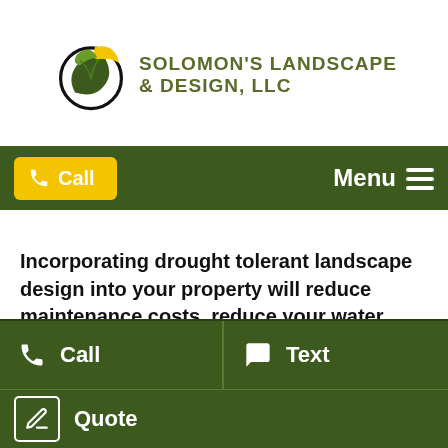[Figure (logo): Solomon's Landscape & Design, LLC logo with circular green leaf emblem and company name in olive/dark green text]
Call  Menu
Incorporating drought tolerant landscape design into your property will reduce maintenance costs, reduce your water usage and it won't have to look boring and dull either.  Drought resistant landscaping can bring your property to life with an explosion of different colors and appealing
Call  Text  Quote